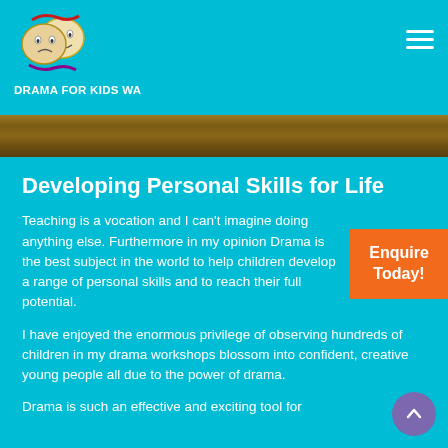[Figure (logo): Drama for Kids WA logo with theatre comedy/tragedy masks and the text 'Drama for Kids WA']
Developing Personal Skills for Life
Teaching is a vocation and I can't imagine doing anything else. Furthermore in my opinion Drama is the best subject in the world to help children develop a range of personal skills and to reach their full potential.
I have enjoyed the enormous privilege of observing hundreds of children in my drama workshops blossom into confident, creative young people all due to the power of drama.
Drama is such an effective and exciting tool for